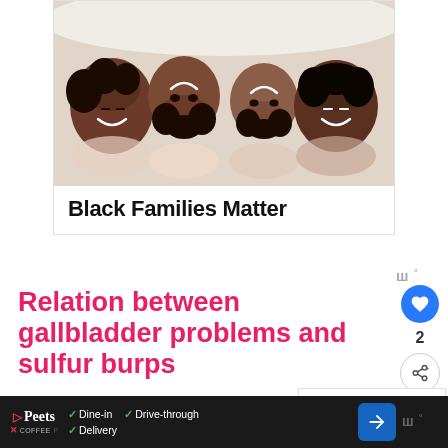[Figure (photo): Overhead photo of Black family (two adults and two children) lying on bed looking up, smiling]
Black Families Matter
Relation between gallbladder problems and sulfur burps
Your gallbladder is a tiny pear-sha... organ located to the right of your abdomen
[Figure (screenshot): What's Next panel: Buzzing Or Vibrating...]
[Figure (screenshot): Bottom advertisement bar: Peet's Coffee - Dine-in, Drive-through, Delivery]